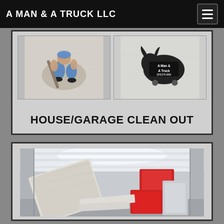A MAN & A TRUCK LLC
[Figure (photo): Two photos: left shows a person working on the ground from above, right shows a truck logo with text 'A Man & A Truck']
HOUSE/GARAGE CLEAN OUT
[Figure (photo): Interior of a moving truck loaded with mattresses, red boxes, and other items]